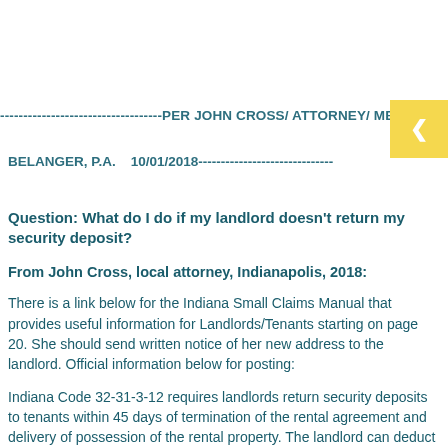-----------------------------------PER JOHN CROSS/ ATTORNEY/ ME
BELANGER, P.A.    10/01/2018------------------------------
Question: What do I do if my landlord doesn’t return my security deposit?
From John Cross, local attorney, Indianapolis, 2018:
There is a link below for the Indiana Small Claims Manual that provides useful information for Landlords/Tenants starting on page 20. She should send written notice of her new address to the landlord. Official information below for posting:
Indiana Code 32-31-3-12 requires landlords return security deposits to tenants within 45 days of termination of the rental agreement and delivery of possession of the rental property. The landlord can deduct the following amounts from the security